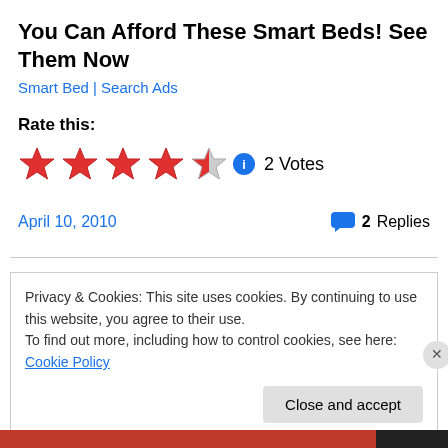You Can Afford These Smart Beds! See Them Now
Smart Bed | Search Ads
Rate this:
[Figure (other): 4.5 out of 5 star rating with info icon and '2 Votes' label]
April 10, 2010    2 Replies
Privacy & Cookies: This site uses cookies. By continuing to use this website, you agree to their use.
To find out more, including how to control cookies, see here: Cookie Policy